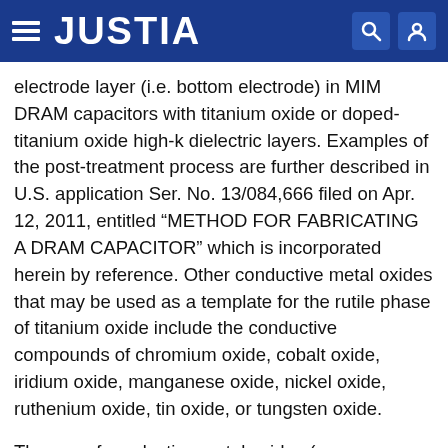JUSTIA
electrode layer (i.e. bottom electrode) in MIM DRAM capacitors with titanium oxide or doped-titanium oxide high-k dielectric layers. Examples of the post-treatment process are further described in U.S. application Ser. No. 13/084,666 filed on Apr. 12, 2011, entitled “METHOD FOR FABRICATING A DRAM CAPACITOR” which is incorporated herein by reference. Other conductive metal oxides that may be used as a template for the rutile phase of titanium oxide include the conductive compounds of chromium oxide, cobalt oxide, iridium oxide, manganese oxide, nickel oxide, ruthenium oxide, tin oxide, or tungsten oxide.
The use of conductive metal oxides (e.g. molybdenum oxide) as a first electrode layer can be combined with a higher conductivity base layer (e.g. titanium nitride) to form the first electrode layer. This combination exhibits